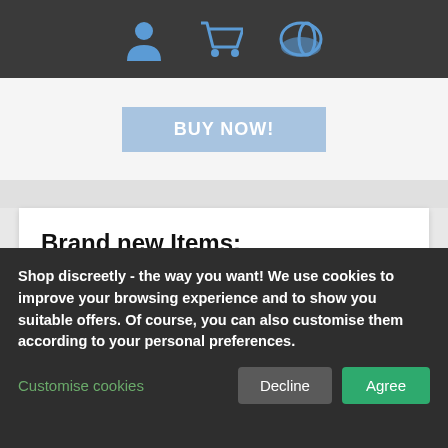Navigation bar with user, cart, and payment icons
[Figure (screenshot): Blue BUY NOW! button on light background]
Brand new Items:
FIST PURE RED tall bottle
[Figure (photo): Black and red tall bottle product image]
FistIt Numbing Water Based Lubricant 500 ml - Pump
[Figure (photo): White pump bottle lubricant product image]
Shop discreetly - the way you want! We use cookies to improve your browsing experience and to show you suitable offers. Of course, you can also customise them according to your personal preferences.
Customise cookies
Decline
Agree